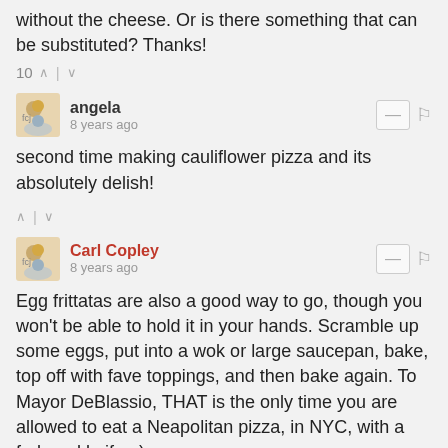without the cheese. Or is there something that can be substituted? Thanks!
10 ↑ | ↓
angela
8 years ago
second time making cauliflower pizza and its absolutely delish!
↑ | ↓
Carl Copley
8 years ago
Egg frittatas are also a good way to go, though you won't be able to hold it in your hands. Scramble up some eggs, put into a wok or large saucepan, bake, top off with fave toppings, and then bake again. To Mayor DeBlassio, THAT is the only time you are allowed to eat a Neapolitan pizza, in NYC, with a fork and knife. ;)
↑ | ↓
karenok
8 years ago